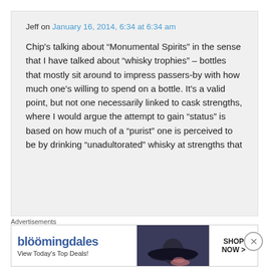Jeff on January 16, 2014, 6:34 at 6:34 am
Chip's talking about “Monumental Spirits” in the sense that I have talked about “whisky trophies” – bottles that mostly sit around to impress passers-by with how much one’s willing to spend on a bottle. It’s a valid point, but not one necessarily linked to cask strengths, where I would argue the attempt to gain “status” is based on how much of a “purist” one is perceived to be by drinking “unadultorated” whisky at strengths that
Advertisements
[Figure (other): Bloomingdale's advertisement banner with logo, 'View Today's Top Deals!' tagline, image of a woman wearing a hat, and 'SHOP NOW >' button]